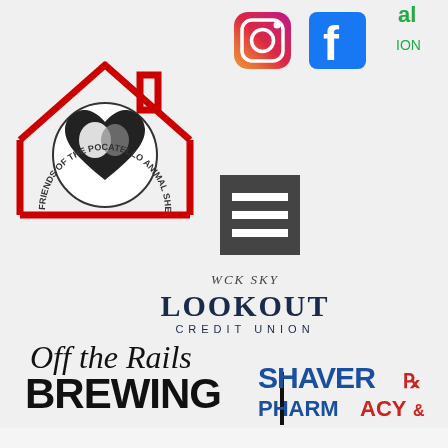[Figure (logo): Friends of the Pocatello Animal Shelter logo with house outline in red, dog and cat silhouette in heart, circular text]
[Figure (logo): Instagram icon (colorful gradient camera)]
[Figure (logo): Facebook icon (blue square with white f)]
[Figure (logo): Partial green text 'al ION' top right corner]
[Figure (logo): Dark gray hamburger menu icon (three horizontal lines)]
[Figure (logo): Lookout Credit Union logo with decorative text above]
[Figure (logo): Off the Rails Brewing logo in black serif/condensed font]
[Figure (logo): Shaver Pharmacy & Center logo in blue and red text]
[Figure (logo): First American Title Company logo with eagle and italic text]
[Figure (logo): Partial bird/dove logo at bottom center]